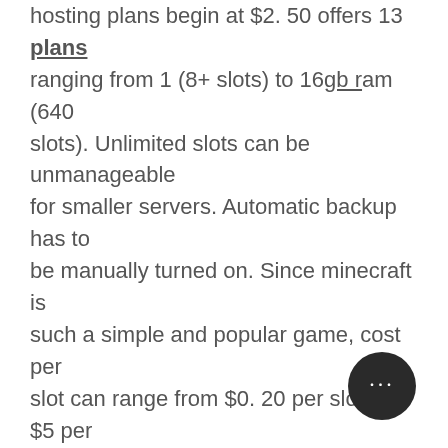hosting plans begin at $2. 50 offers 13 plans ranging from 1 (8+ slots) to 16gb ram (640 slots). Unlimited slots can be unmanageable for smaller servers. Automatic backup has to be manually turned on. Since minecraft is such a simple and popular game, cost per slot can range from $0. 20 per slot to $5 per gb, some hosts like host havoc. Our experts ranked the best minecraft server hosting providers on the market today. •latest server hardware; •unlimited gaming slots. Properties does not change the playercount slots limit. This is most commonly due to a hard-limit set by the server hosting company. I am looking at renting a server to have about 20-30 slots. All one plans come with either a lot or unlimited player slots! Slots are priced differently depending on the game, and you get a bulk slot discount. For example, a 30 slot rust server costs $0. 46/slot, an 80 slot server. Web hosting virtual